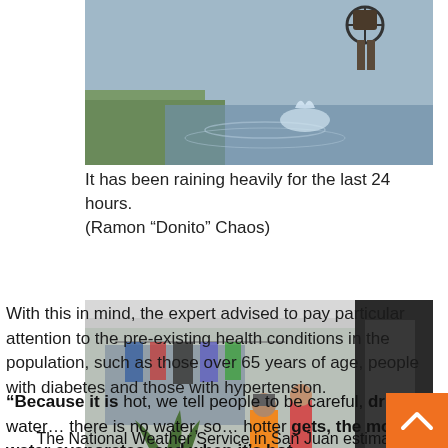[Figure (photo): Bicycle wheel splashing through floodwater, grass visible in background]
It has been raining heavily for the last 24 hours. (Ramon “Donito” Chaos)
[Figure (photo): Flooded home exterior with people standing in floodwater, clothing hanging on porch, plants visible]
With this in mind, the expert advised to pay particular attention to the pre-existing health conditions in the population, such as those over 65 years of age, people with diabetes and those with hypertension.
“Because it is hot, we tell people to be careful, drink water… there is no water, so… hotter gets, the more water evaporates, and when it’s hot, people drink more water… heat is an event that…
The National Weather Service in San Juan estimates people drink more water… heat is an event that